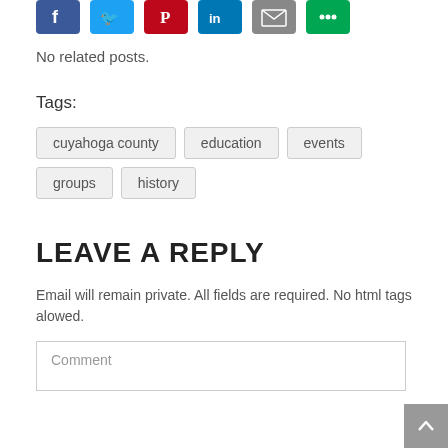[Figure (illustration): Row of social media sharing icons: Facebook (blue), Twitter (blue), Pinterest (red), LinkedIn (blue), Email (grey), More Options (green)]
No related posts.
Tags:
cuyahoga county
education
events
groups
history
LEAVE A REPLY
Email will remain private. All fields are required. No html tags alowed.
Comment